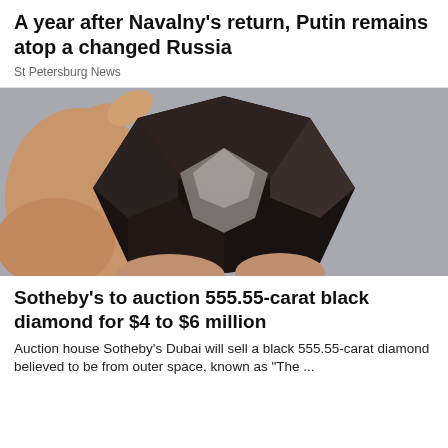A year after Navalny's return, Putin remains atop a changed Russia
St Petersburg News
[Figure (photo): A hand holding a large dark faceted black diamond gemstone against a grey background]
Sotheby's to auction 555.55-carat black diamond for $4 to $6 million
Auction house Sotheby's Dubai will sell a black 555.55-carat diamond believed to be from outer space, known as "The ...